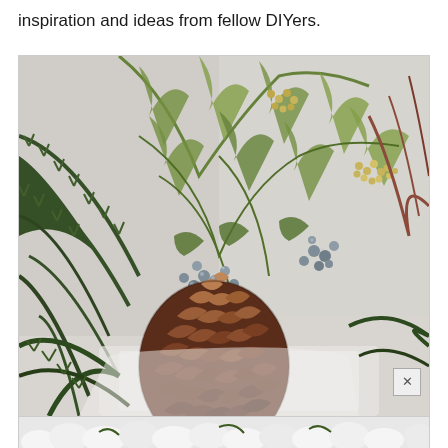inspiration and ideas from fellow DIYers.
[Figure (photo): Close-up photo of a holiday/winter floral arrangement featuring evergreen branches (pine, cedar, juniper), blue-grey berries, small yellow berries, and a large dark brown pinecone in the foreground, arranged in a white container.]
[Figure (photo): Partial bottom strip showing a white fluffy wreath or decoration with some greenery visible.]